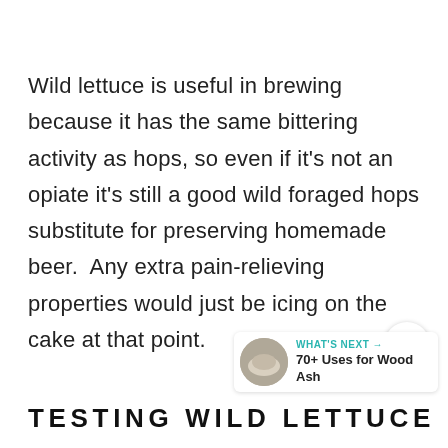Wild lettuce is useful in brewing because it has the same bittering activity as hops, so even if it's not an opiate it's still a good wild foraged hops substitute for preserving homemade beer.  Any extra pain-relieving properties would just be icing on the cake at that point.
TESTING WILD LETTUCE